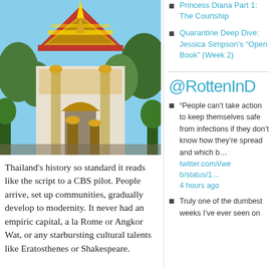[Figure (photo): Thai temple building with ornate golden decorations, spire, arched entrance, surrounded by tropical plants and palm trees under blue sky]
Thailand's history so standard it reads like the script to a CBS pilot. People arrive, set up communities, gradually develop to modernity. It never had an empiric capital, a la Rome or Angkor Wat, or any starbursting cultural talents like Eratosthenes or Shakespeare.
Princess Diana Part 1: The Courtship
Quarantine Deep Dive: Jessica Simpson's “Open Book” (Week 2)
@RottenInD
“People can’t take action to keep themselves safe from infections if they don’t know how they’re spread and which b… twitter.com/i/web/status/1… 4 hours ago
Truly one of the dumbest weeks I’ve ever seen on